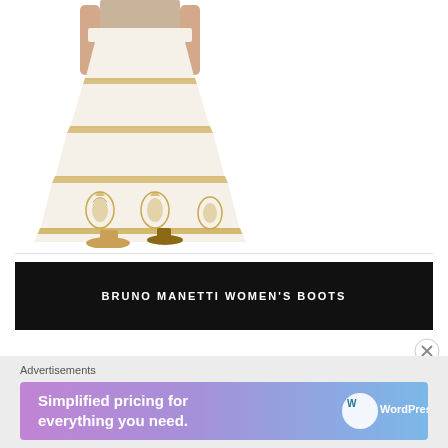[Figure (photo): A woman wearing a white and gold embroidered wide-leg palazzo pants/skirt with gold border trim and decorative motifs at the bottom, paired with gold/tan heels. Only lower body visible.]
[Figure (infographic): Black banner advertisement reading 'BRUNO MANETTI WOMEN'S BOOTS' in white bold letters on a black background.]
Advertisements
[Figure (screenshot): WordPress.com advertisement banner: 'Simplified pricing for everything you need.' with WordPress.com logo on a pink-purple gradient background.]